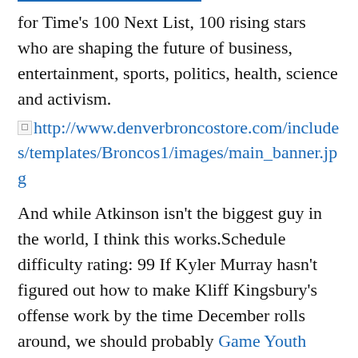for Time’s 100 Next List, 100 rising stars who are shaping the future of business, entertainment, sports, politics, health, science and activism.
http://www.denverbroncostore.com/includes/templates/Broncos1/images/main_banner.jpg
And while Atkinson isn’t the biggest guy in the world, I think this works.Schedule difficulty rating: 99 If Kyler Murray hasn’t figured out how to make Kliff Kingsbury’s offense work by the time December rolls around, we should probably Game Youth Tyler Glasnow Jersey just go ahead and sign up the Cardinals for the top overall pick again.